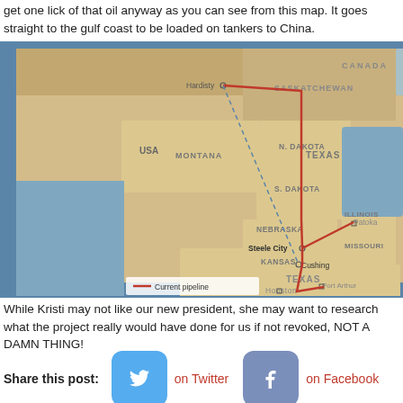get one lick of that oil anyway as you can see from this map. It goes straight to the gulf coast to be loaded on tankers to China.
[Figure (map): Map showing the Keystone pipeline route from Hardisty, Saskatchewan, Canada through Montana, N. Dakota, S. Dakota, Nebraska, Kansas (Steele City), Oklahoma (Cushing), to Texas (Houston, Port Arthur), with a branch to Patoka, Illinois. Legend shows red line as Current pipeline.]
While Kristi may not like our new president, she may want to research what the project really would have done for us if not revoked, NOT A DAMN THING!
Share this post:   on Twitter   on Facebook